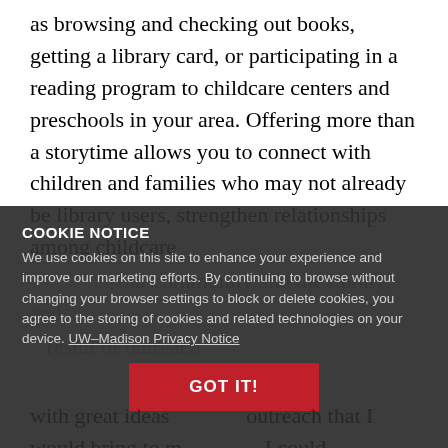as browsing and checking out books, getting a library card, or participating in a reading program to childcare centers and preschools in your area. Offering more than a storytime allows you to connect with children and families who may not already be library users, strengthen relationships among childcare
COOKIE NOTICE
We use cookies on this site to enhance your experience and improve our marketing efforts. By continuing to browse without changing your browser settings to block or delete cookies, you agree to the storing of cookies and related technologies on your device. UW–Madison Privacy Notice
with great ideas outreach that I would bring to m I could